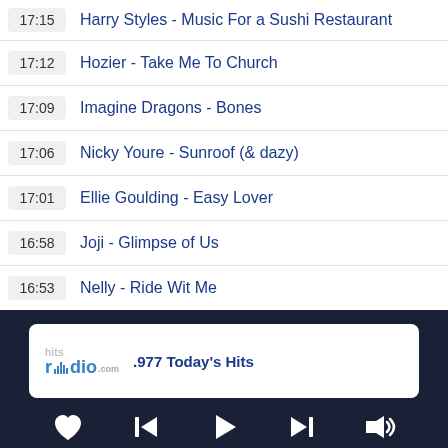17:15  Harry Styles - Music For a Sushi Restaurant
17:12  Hozier - Take Me To Church
17:09  Imagine Dragons - Bones
17:06  Nicky Youre - Sunroof (& dazy)
17:01  Ellie Goulding - Easy Lover
16:58  Joji - Glimpse of Us
16:53  Nelly - Ride Wit Me
[Figure (screenshot): Radio player bar with hitsradio logo, station name '.977 Today's Hits', and playback controls (heart/favorite, previous, play, next, volume)]